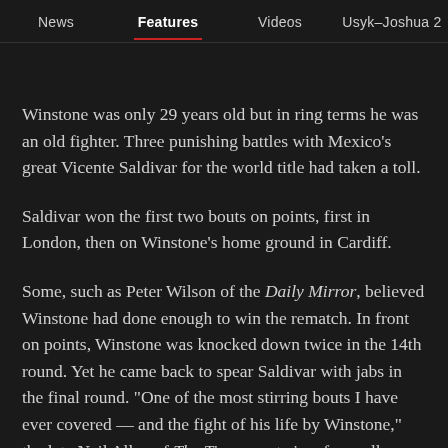News | Features | Videos | Usyk–Joshua 2
Winstone was only 29 years old but in ring terms he was an old fighter. Three punishing battles with Mexico's great Vicente Saldivar for the world title had taken a toll.
Saldivar won the first two bouts on points, first in London, then on Winstone's home ground in Cardiff.
Some, such as Peter Wilson of the Daily Mirror, believed Winstone had done enough to win the rematch. In front on points, Winstone was knocked down twice in the 14th round. Yet he came back to spear Saldivar with jabs in the final round. "One of the most stirring bouts I have ever covered — and the fight of his life by Winstone," the late Neil Allen of The Times wrote in a farewell tribute after